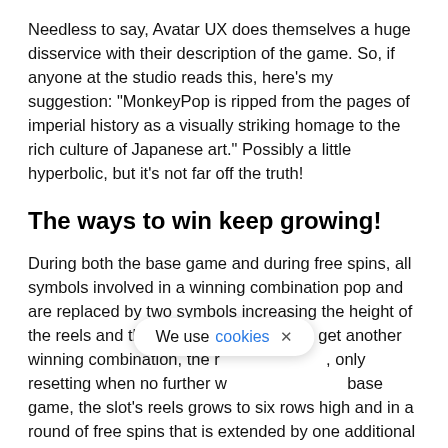Needless to say, Avatar UX does themselves a huge disservice with their description of the game. So, if anyone at the studio reads this, here's my suggestion: “MonkeyPop is ripped from the pages of imperial history as a visually striking homage to the rich culture of Japanese art.” Possibly a little hyperbolic, but it’s not far off the truth!
The ways to win keep growing!
During both the base game and during free spins, all symbols involved in a winning combination pop and are replaced by two symbols increasing the height of the reels and the slot’s win ways. If you get another winning combination, the reels will grow, only resetting when no further wins occur. In the base game, the slot’s reels grows to six rows high and in a round of free spins that is extended by one additional row.